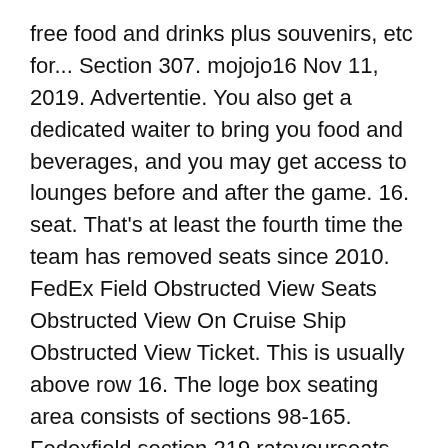free food and drinks plus souvenirs, etc for... Section 307. mojojo16 Nov 11, 2019. Advertentie. You also get a dedicated waiter to bring you food and beverages, and you may get access to lounges before and after the game. 16. seat. That's at least the fourth time the team has removed seats since 2010. FedEx Field Obstructed View Seats Obstructed View On Cruise Ship Obstructed View Ticket. This is usually above row 16. The loge box seating area consists of sections 98-165. Fedexfield section 219 rateyourseats com fedex field section 224 home of washington s fedex field section 217 home of washington s fedexfield section 227 rateyourseats com. Ticket master doesn't let